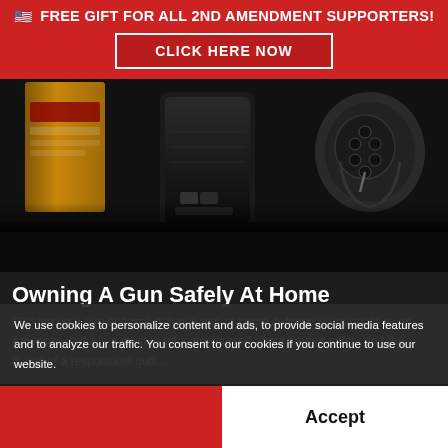🇺🇸 FREE GIFT FOR ALL 2ND AMENDMENT SUPPORTERS!
CLICK HERE NOW
[Figure (photo): Close-up photo of firearms and ammunition — a revolver, a pistol magazine/grip, and a box of Remington ammunition on a dark background.]
Owning A Gun Safely At Home
Clicking on a gun or home defense gun or home defense is your right as an American, but it is a must to educate yourself about firearm safety and the duties of a responsible gun...
We use cookies to personalize content and ads, to provide social media features and to analyze our traffic. You consent to our cookies if you continue to use our website.
Accept